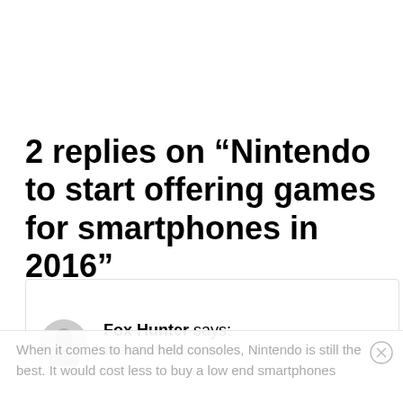2 replies on “Nintendo to start offering games for smartphones in 2016”
Fox Hunter says: 10/30/2015 at 2:01 AM
When it comes to hand held consoles, Nintendo is still the best. It would cost less to buy a low end smartphone...